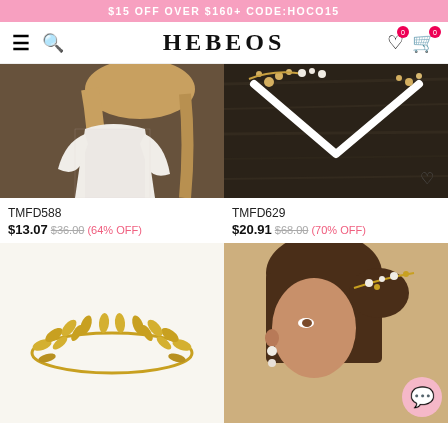$15 OFF OVER $160+ CODE:HOCO15
HEBEOS
[Figure (photo): Woman in white lace dress, back view, product TMFD588]
[Figure (photo): Gold floral hair vine with white ribbon on dark background, product TMFD629]
TMFD588
$13.07 $36.00 (64% OFF)
TMFD629
$20.91 $68.00 (70% OFF)
[Figure (photo): Gold leaf crown/tiara product image]
[Figure (photo): Woman wearing pearl and gold hair vine accessory]